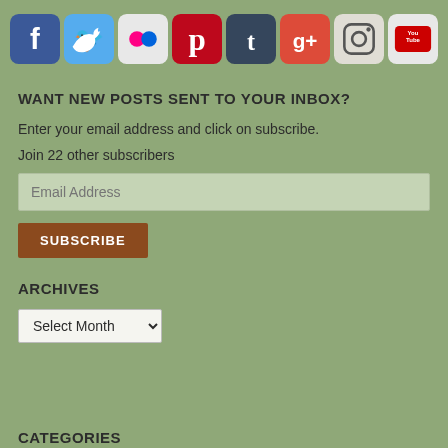[Figure (infographic): Row of 8 social media icon buttons: Facebook (blue), Twitter (light blue), Flickr (white/pink dots), Pinterest (red), Tumblr (dark teal), Google+ (red/orange), Instagram (camera), YouTube (white/red)]
WANT NEW POSTS SENT TO YOUR INBOX?
Enter your email address and click on subscribe.
Join 22 other subscribers
Email Address
SUBSCRIBE
ARCHIVES
Select Month
CATEGORIES